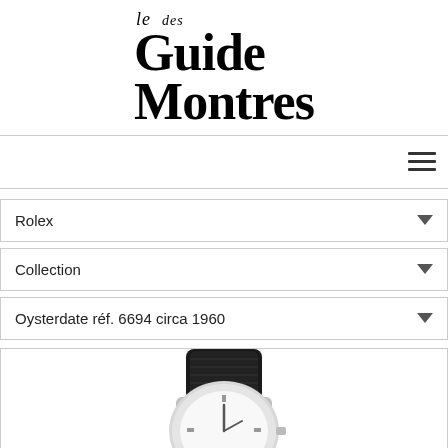[Figure (logo): le Guide des Montres logo — italic 'le' and 'des' in smaller serif text above large bold serif 'Guide' and 'Montres']
Rolex
Collection
Oysterdate réf. 6694 circa 1960
[Figure (photo): Rolex Oysterdate wristwatch with black croc-leather strap and silver case, viewed from above]